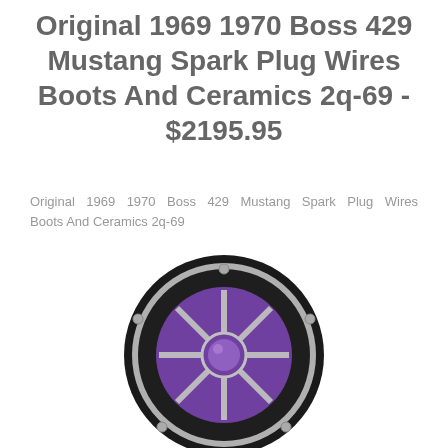Original 1969 1970 Boss 429 Mustang Spark Plug Wires Boots And Ceramics 2q-69 - $2195.95
Original 1969 1970 Boss 429 Mustang Spark Plug Wires Boots And Ceramics 2q-69
[Figure (photo): A round speaker or subwoofer with a black outer ring, silver spoke grille, and purple/violet cone center, viewed from the front.]